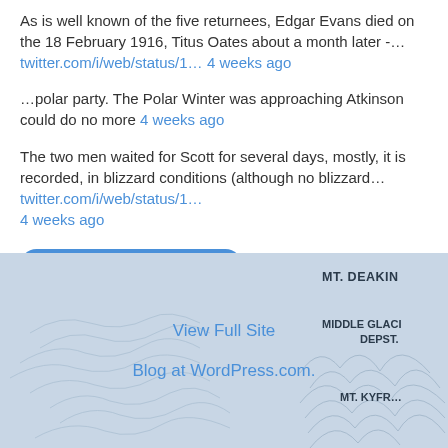As is well known of the five returnees, Edgar Evans died on the 18 February 1916, Titus Oates about a month later -… twitter.com/i/web/status/1… 4 weeks ago
…polar party. The Polar Winter was approaching Atkinson could do no more 4 weeks ago
The two men waited for Scott for several days, mostly, it is recorded, in blizzard conditions (although no blizzard… twitter.com/i/web/status/1… 4 weeks ago
Follow @isobelpwilliams
[Figure (map): Topographic/relief map showing mountain features labeled: MT. DEAKIN, MIDDLE GLACI DEPST., MT. KYFR... with blue-grey background and sketch-style terrain lines]
View Full Site
Blog at WordPress.com.